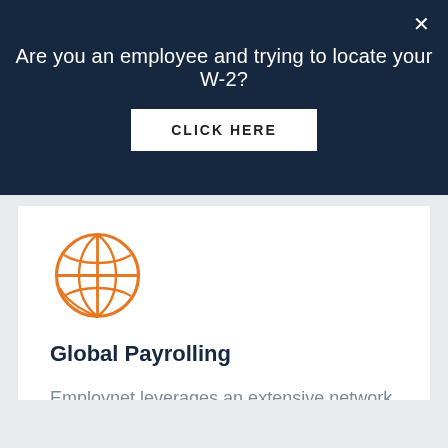Are you an employee and trying to locate your W-2?
CLICK HERE
[Figure (illustration): Orange globe/world icon outlined in orange]
Global Payrolling
Employnet leverages an extensive network of global partners to easily overcome borders, currencies, legal hurdles, and unique tax laws with one easy-to-use streamlined solution.
Learn More